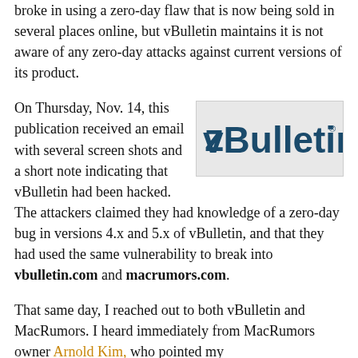broke in using a zero-day flaw that is now being sold in several places online, but vBulletin maintains it is not aware of any zero-day attacks against current versions of its product.
[Figure (logo): vBulletin logo — dark teal/navy stylized text on light grey background]
On Thursday, Nov. 14, this publication received an email with several screen shots and a short note indicating that vBulletin had been hacked. The attackers claimed they had knowledge of a zero-day bug in versions 4.x and 5.x of vBulletin, and that they had used the same vulnerability to break into vbulletin.com and macrumors.com.
That same day, I reached out to both vBulletin and MacRumors. I heard immediately from MacRumors owner Arnold Kim, who pointed my